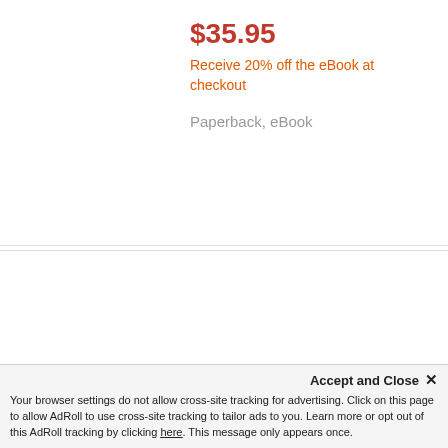$35.95
Receive 20% off the eBook at checkout
Paperback, eBook
[Figure (illustration): Book cover for 'A Mind for Mathematics: Meaningful Teaching and Learning in Elementary Classrooms' with teal/blue math symbols and numbers on a light background]
A Mind for Mathematics
Meaningful Teaching and Learning in Elementary Classrooms
By: Nanci N. Smith
This also reads as...
Accept and Close ✕
Your browser settings do not allow cross-site tracking for advertising. Click on this page to allow AdRoll to use cross-site tracking to tailor ads to you. Learn more or opt out of this AdRoll tracking by clicking here. This message only appears once.